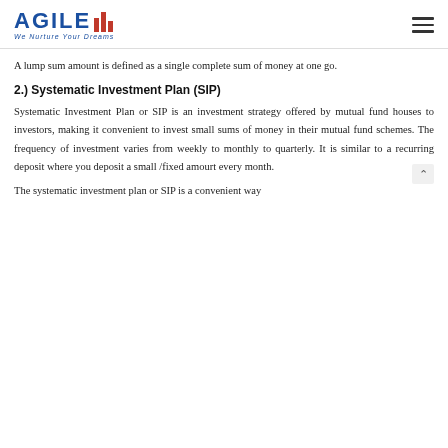AGILE - We Nurture Your Dreams
A lump sum amount is defined as a single complete sum of money at one go.
2.) Systematic Investment Plan (SIP)
Systematic Investment Plan or SIP is an investment strategy offered by mutual fund houses to investors, making it convenient to invest small sums of money in their mutual fund schemes. The frequency of investment varies from weekly to monthly to quarterly. It is similar to a recurring deposit where you deposit a small /fixed amount every month.
The systematic investment plan or SIP is a convenient way